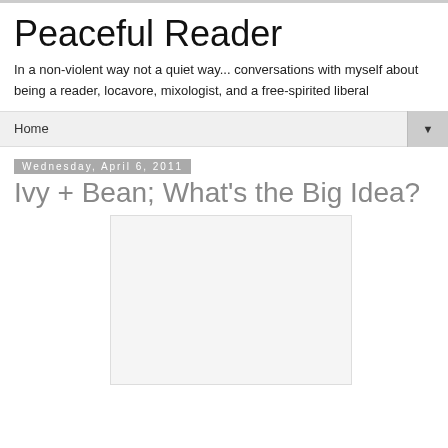Peaceful Reader
In a non-violent way not a quiet way... conversations with myself about being a reader, locavore, mixologist, and a free-spirited liberal
Home
Wednesday, April 6, 2011
Ivy + Bean; What's the Big Idea?
[Figure (photo): Book cover image placeholder (white/light gray rectangle)]